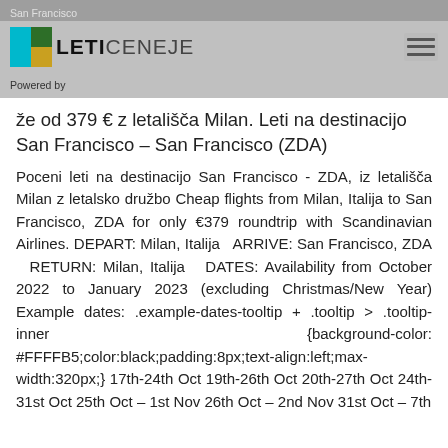San Francisco
[Figure (logo): LetiCeneje logo with teal, dark green, and gold squares]
Powered by
že od 379 € z letališča Milan. Leti na destinacijo San Francisco – San Francisco (ZDA)
Poceni leti na destinacijo San Francisco - ZDA, iz letališča Milan z letalsko družbo Cheap flights from Milan, Italija to San Francisco, ZDA for only €379 roundtrip with Scandinavian Airlines. DEPART: Milan, Italija   ARRIVE: San Francisco, ZDA   RETURN: Milan, Italija   DATES: Availability from October 2022 to January 2023 (excluding Christmas/New Year) Example dates: .example-dates-tooltip + .tooltip > .tooltip-inner {background-color: #FFFFB5;color:black;padding:8px;text-align:left;max-width:320px;} 17th-24th Oct 19th-26th Oct 20th-27th Oct 24th-31st Oct 25th Oct – 1st Nov 26th Oct – 2nd Nov 31st Oct – 7th